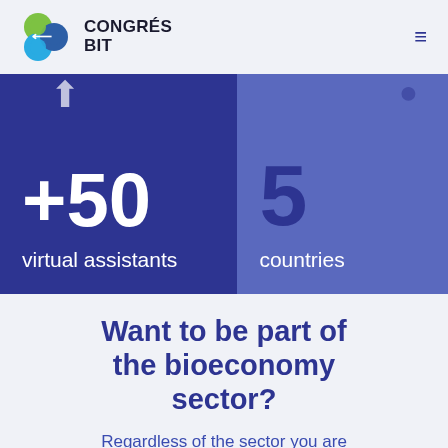[Figure (logo): Congrés BIT logo with stylized interlocking circles in green and blue, and text 'CONGRÉS BIT']
[Figure (infographic): Two-panel stats banner: left panel (dark blue) shows '+50 virtual assistants', right panel (medium blue) shows '5 countries']
Want to be part of the bioeconomy sector?
Regardless of the sector you are